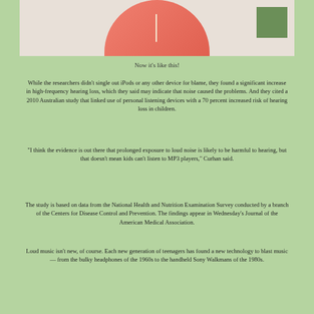[Figure (photo): A woman in a pink/orange tank top wearing earphones, with a dark olive green rectangle in the upper right corner. The image is cropped showing the torso and arm area.]
Now it's like this!
While the researchers didn't single out iPods or any other device for blame, they found a significant increase in high-frequency hearing loss, which they said may indicate that noise caused the problems. And they cited a 2010 Australian study that linked use of personal listening devices with a 70 percent increased risk of hearing loss in children.
"I think the evidence is out there that prolonged exposure to loud noise is likely to be harmful to hearing, but that doesn't mean kids can't listen to MP3 players," Curhan said.
The study is based on data from the National Health and Nutrition Examination Survey conducted by a branch of the Centers for Disease Control and Prevention. The findings appear in Wednesday's Journal of the American Medical Association.
Loud music isn't new, of course. Each new generation of teenagers has found a new technology to blast music — from the bulky headphones of the 1960s to the handheld Sony Walkmans of the 1980s.